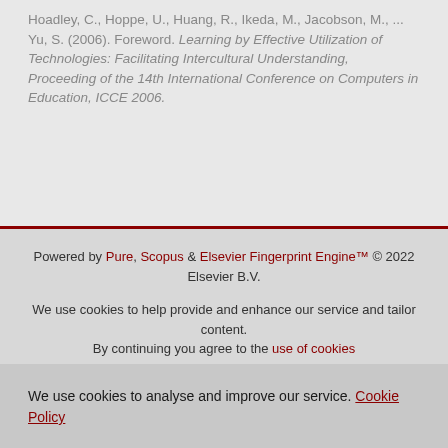Hoadley, C., Hoppe, U., Huang, R., Ikeda, M., Jacobson, M., ... Yu, S. (2006). Foreword. Learning by Effective Utilization of Technologies: Facilitating Intercultural Understanding, Proceeding of the 14th International Conference on Computers in Education, ICCE 2006.
Powered by Pure, Scopus & Elsevier Fingerprint Engine™ © 2022 Elsevier B.V.
We use cookies to help provide and enhance our service and tailor content. By continuing you agree to the use of cookies
Cookies Settings
We use cookies to analyse and improve our service. Cookie Policy